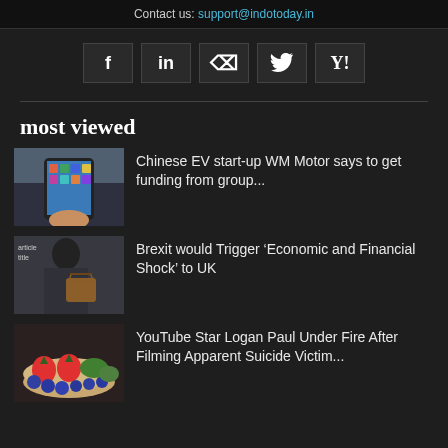Contact us: support@indotoday.in
[Figure (other): Social media icons row: Facebook (f), LinkedIn (in), RSS feed, Twitter bird, Yahoo (Y!)]
most viewed
[Figure (photo): Person holding a smartphone with apps visible on screen]
Chinese EV start-up WM Motor says to get funding from group...
[Figure (photo): Person carrying a brown handbag, partially visible]
Brexit would Trigger ‘Economic and Financial Shock’ to UK
[Figure (photo): Bowl of mixed fruits including strawberries and blueberries]
YouTube Star Logan Paul Under Fire After Filming Apparent Suicide Victim...